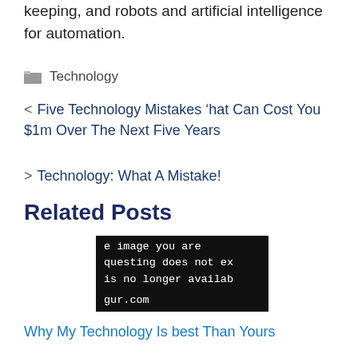keeping, and robots and artificial intelligence for automation.
Technology
< Five Technology Mistakes ‘hat Can Cost You $1m Over The Next Five Years
> Technology: What A Mistake!
Related Posts
[Figure (screenshot): Dark background image with white monospace text reading: 'e image you are questing does not ex is no longer availab gur.com']
Why My Technology Is best Than Yours